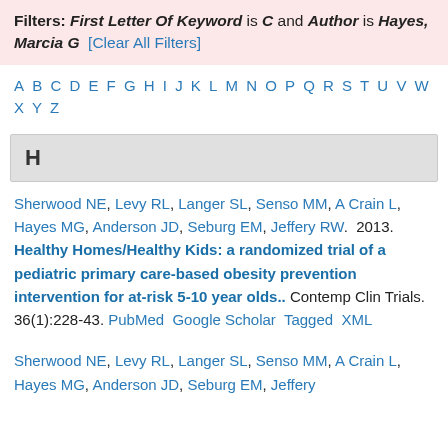Filters: First Letter Of Keyword is C and Author is Hayes, Marcia G [Clear All Filters]
A B C D E F G H I J K L M N O P Q R S T U V W X Y Z
H
Sherwood NE, Levy RL, Langer SL, Senso MM, A Crain L, Hayes MG, Anderson JD, Seburg EM, Jeffery RW. 2013. Healthy Homes/Healthy Kids: a randomized trial of a pediatric primary care-based obesity prevention intervention for at-risk 5-10 year olds.. Contemp Clin Trials. 36(1):228-43. PubMed Google Scholar Tagged XML
Sherwood NE, Levy RL, Langer SL, Senso MM, A Crain L, Hayes MG, Anderson JD, Seburg EM, Jeffery